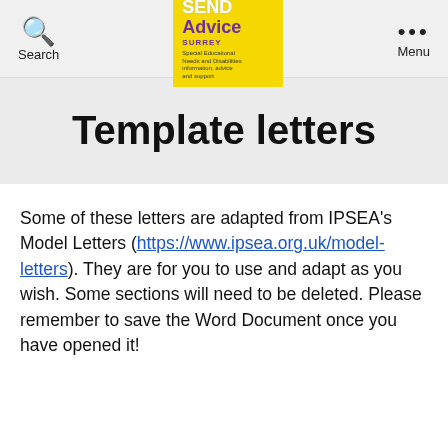Search | SEND Advice Surrey | Menu
Template letters
Some of these letters are adapted from IPSEA's Model Letters (https://www.ipsea.org.uk/model-letters). They are for you to use and adapt as you wish. Some sections will need to be deleted. Please remember to save the Word Document once you have opened it!